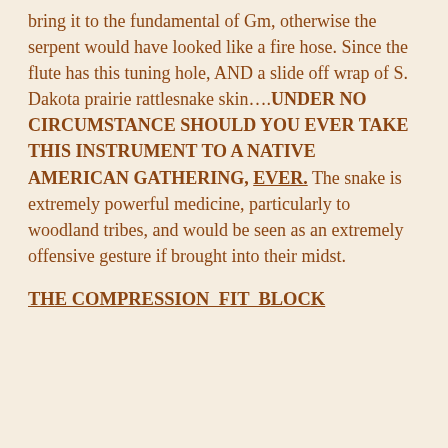bring it to the fundamental of Gm, otherwise the serpent would have looked like a fire hose. Since the flute has this tuning hole, AND a slide off wrap of S. Dakota prairie rattlesnake skin….UNDER NO CIRCUMSTANCE SHOULD YOU EVER TAKE THIS INSTRUMENT TO A NATIVE AMERICAN GATHERING, EVER. The snake is extremely powerful medicine, particularly to woodland tribes, and would be seen as an extremely offensive gesture if brought into their midst.
THE COMPRESSION  FIT  BLOCK